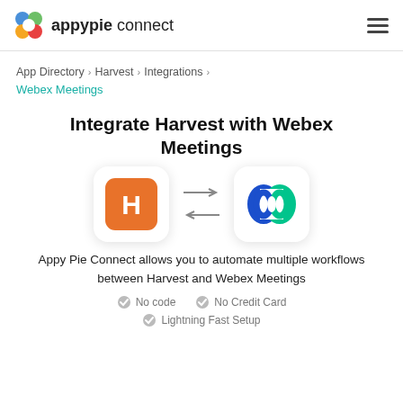appypie connect
App Directory > Harvest > Integrations > Webex Meetings
Integrate Harvest with Webex Meetings
[Figure (illustration): Two app icons side by side with bidirectional arrows between them. Left icon: Harvest (orange rounded-square with white H). Right icon: Webex Meetings (blue-green swirl logo on white rounded-square card).]
Appy Pie Connect allows you to automate multiple workflows between Harvest and Webex Meetings
No code
No Credit Card
Lightning Fast Setup